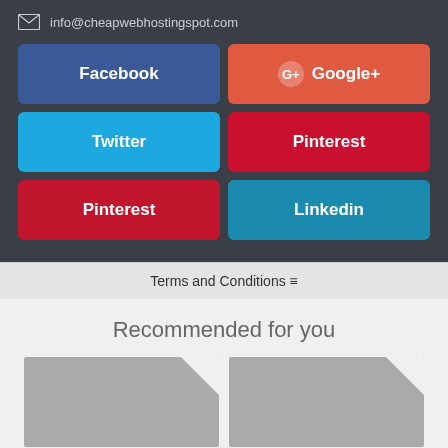info@cheapwebhostingspot.com
[Figure (infographic): Social media share buttons grid: Facebook (blue), Google+ (orange-red with G+ icon), Twitter (light blue), Pinterest (red), Pinterest (dark red), Linkedin (teal blue)]
Terms and Conditions ≡
Recommended for you
[Figure (photo): Gray placeholder image thumbnail with folded corner]
[Figure (photo): Gray placeholder image thumbnail with folded corner]